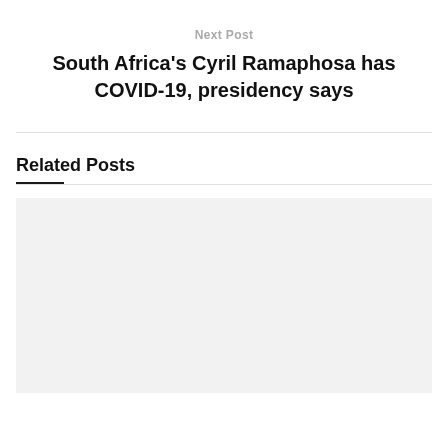Next Post
South Africa's Cyril Ramaphosa has COVID-19, presidency says
Related Posts
[Figure (photo): Gray placeholder rectangle for a related post image]